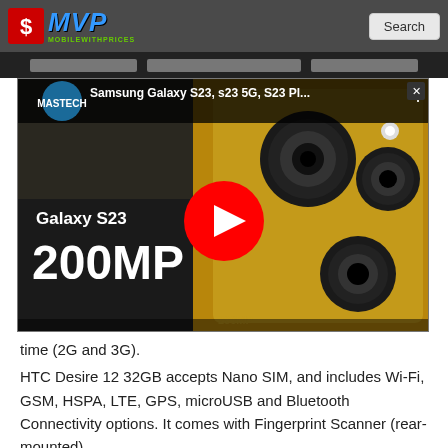MVP MobileWithPrices | Search
[Figure (screenshot): YouTube video thumbnail showing Samsung Galaxy S23 200MP camera advertisement with gold phone, title 'Samsung Galaxy S23, s23 5G, S23 Pl...' and red play button overlay. Channel: MASTECH.]
time (2G and 3G).
HTC Desire 12 32GB accepts Nano SIM, and includes Wi-Fi, GSM, HSPA, LTE, GPS, microUSB and Bluetooth Connectivity options. It comes with Fingerprint Scanner (rear-mounted).